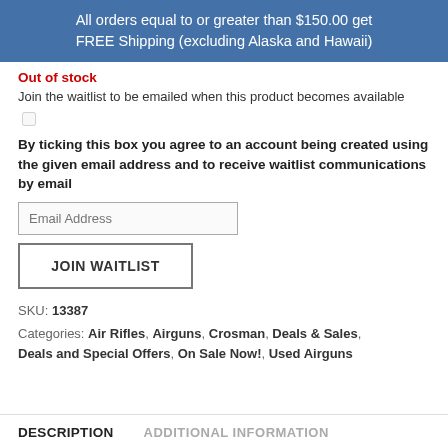All orders equal to or greater than $150.00 get FREE Shipping (excluding Alaska and Hawaii)
Out of stock
Join the waitlist to be emailed when this product becomes available
By ticking this box you agree to an account being created using the given email address and to receive waitlist communications by email
Email Address
JOIN WAITLIST
SKU: 13387
Categories: Air Rifles, Airguns, Crosman, Deals & Sales, Deals and Special Offers, On Sale Now!, Used Airguns
DESCRIPTION
ADDITIONAL INFORMATION